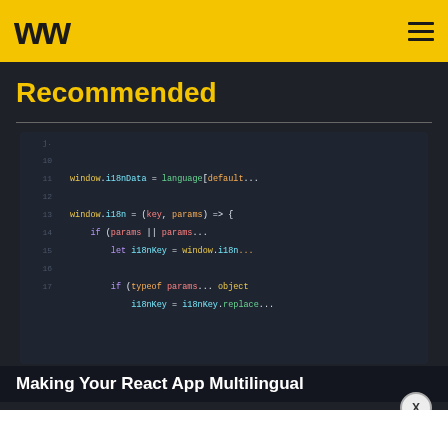WW [logo] [hamburger menu]
Recommended
[Figure (screenshot): Dark-themed code editor screenshot showing JavaScript code with window.i18nData and window.i18n function with lines numbered 10-17, syntax highlighted in multiple colors]
Making Your React App Multilingual